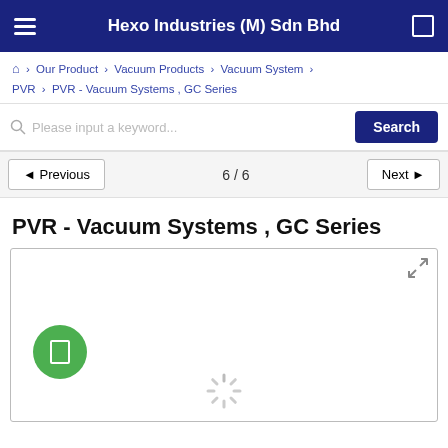Hexo Industries (M) Sdn Bhd
Home › Our Product › Vacuum Products › Vacuum System › PVR › PVR - Vacuum Systems , GC Series
Please input a keyword... Search
◄ Previous   6 / 6   Next ►
PVR - Vacuum Systems , GC Series
[Figure (photo): Product image area for PVR Vacuum Systems GC Series with a loading spinner and play button, image not yet loaded]